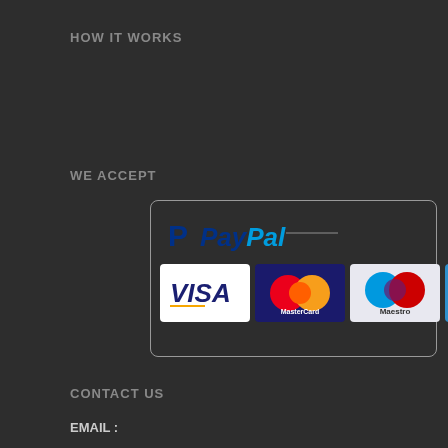HOW IT WORKS
WE ACCEPT
[Figure (logo): Payment methods box showing PayPal logo and credit card logos: VISA, MasterCard, Maestro, American Express, inside a rounded rectangle border]
CONTACT US
EMAIL :